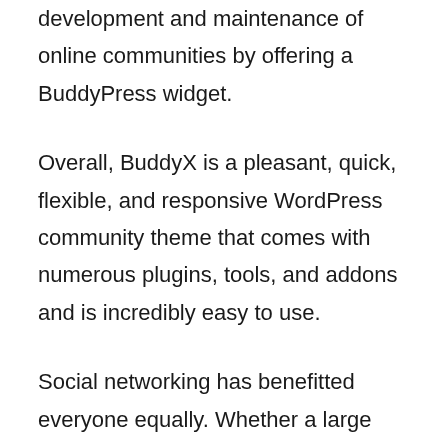development and maintenance of online communities by offering a BuddyPress widget.
Overall, BuddyX is a pleasant, quick, flexible, and responsive WordPress community theme that comes with numerous plugins, tools, and addons and is incredibly easy to use.
Social networking has benefitted everyone equally. Whether a large organization or a new startup, businesses may reach a global audience for free or through marketing efforts on numerous social media platforms. The best method to start a